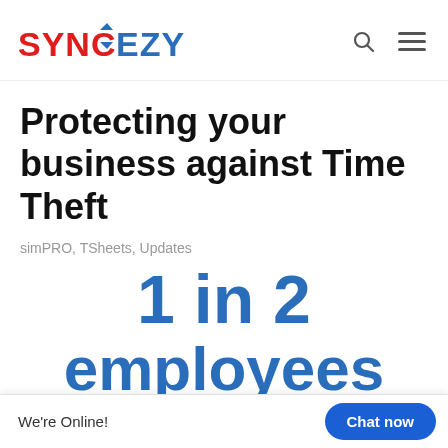[Figure (logo): SyncEzy logo with red SYNC text and blue EZY text with sync arrows icon]
Protecting your business against Time Theft
simPRO, TSheets, Updates
1 in 2 employees
admit to adding between 1